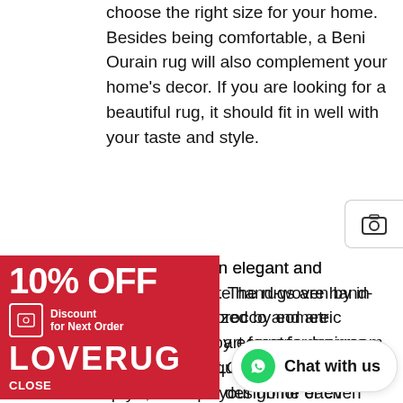choose the right size for your home. Besides being comfortable, a Beni Ourain rug will also complement your home's decor. If you are looking for a beautiful rug, it should fit in well with your taste and style.
[Figure (other): Camera icon button on right side]
[Figure (infographic): Red advertisement banner: 10% OFF Discount for Next Order LOVERUG CLOSE]
Ourain rug is an elegant and luxurious f art. The rugs are hand-woven by in Morocco and are characterized by eometric designs. They are a unique art form for any room, a unique design for each room. They can cover the empty corners in your home or even decorate walls and floors with their patterns. And because they are hand-woven, they are very labor-intensive and time-consuming.
The Beni Ourain rug is a Moroccan that features ancient designs and These rugs are made from thick sheeps wool
[Figure (other): WhatsApp Chat with us button]